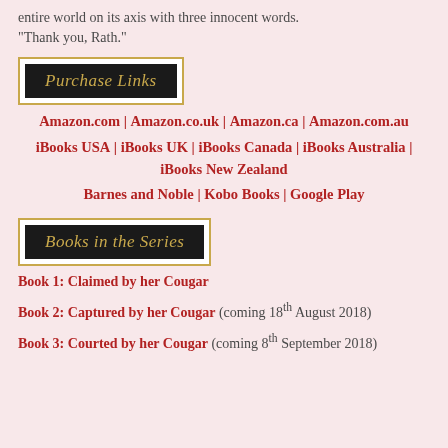entire world on its axis with three innocent words. “Thank you, Rath.”
[Figure (other): Purchase Links banner: black background with gold italic text reading 'Purchase Links', framed in gold and white border]
Amazon.com | Amazon.co.uk | Amazon.ca | Amazon.com.au
iBooks USA | iBooks UK | iBooks Canada | iBooks Australia | iBooks New Zealand
Barnes and Noble | Kobo Books | Google Play
[Figure (other): Books in the Series banner: black background with gold italic text reading 'Books in the Series', framed in gold and white border]
Book 1: Claimed by her Cougar
Book 2: Captured by her Cougar (coming 18th August 2018)
Book 3: Courted by her Cougar (coming 8th September 2018)